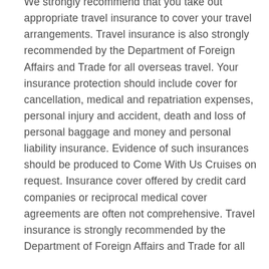We strongly recommend that you take out appropriate travel insurance to cover your travel arrangements. Travel insurance is also strongly recommended by the Department of Foreign Affairs and Trade for all overseas travel. Your insurance protection should include cover for cancellation, medical and repatriation expenses, personal injury and accident, death and loss of personal baggage and money and personal liability insurance. Evidence of such insurances should be produced to Come With Us Cruises on request. Insurance cover offered by credit card companies or reciprocal medical cover agreements are often not comprehensive. Travel insurance is strongly recommended by the Department of Foreign Affairs and Trade for all